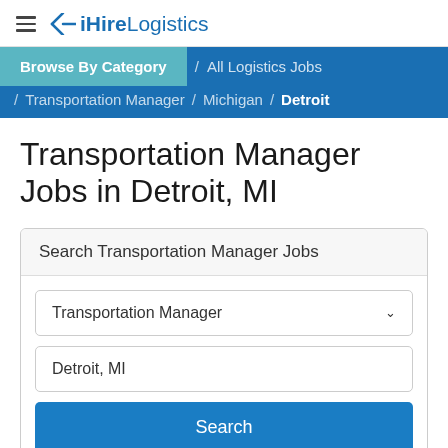iHireLogistics
Browse By Category / All Logistics Jobs / Transportation Manager / Michigan / Detroit
Transportation Manager Jobs in Detroit, MI
Search Transportation Manager Jobs
Transportation Manager
Detroit, MI
Search